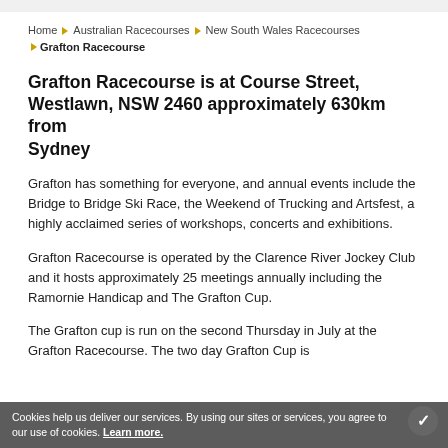Home ▶ Australian Racecourses ▶ New South Wales Racecourses ▶ Grafton Racecourse
Grafton Racecourse is at Course Street, Westlawn, NSW 2460 approximately 630km from Sydney
Grafton has something for everyone, and annual events include the Bridge to Bridge Ski Race, the Weekend of Trucking and Artsfest, a highly acclaimed series of workshops, concerts and exhibitions.
Grafton Racecourse is operated by the Clarence River Jockey Club and it hosts approximately 25 meetings annually including the Ramornie Handicap and The Grafton Cup.
The Grafton cup is run on the second Thursday in July at the Grafton Racecourse. The two day Grafton Cup is
Cookies help us deliver our services. By using our sites or services, you agree to our use of cookies. Learn more.